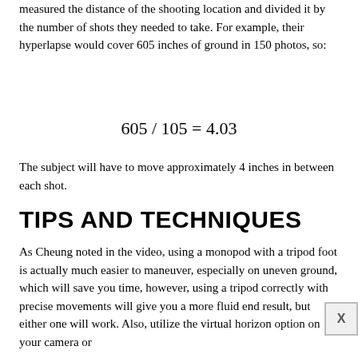measured the distance of the shooting location and divided it by the number of shots they needed to take. For example, their hyperlapse would cover 605 inches of ground in 150 photos, so:
The subject will have to move approximately 4 inches in between each shot.
TIPS AND TECHNIQUES
As Cheung noted in the video, using a monopod with a tripod foot is actually much easier to maneuver, especially on uneven ground, which will save you time, however, using a tripod correctly with precise movements will give you a more fluid end result, but either one will work. Also, utilize the virtual horizon option on your camera or